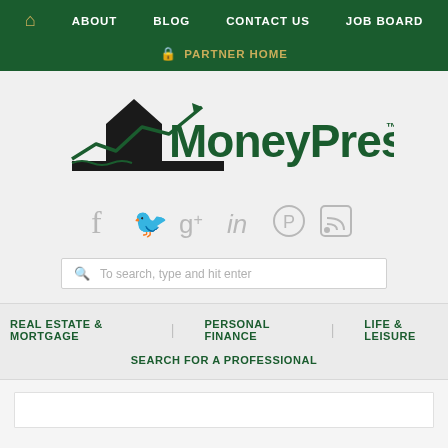🏠  ABOUT  BLOG  CONTACT US  JOB BOARD
🔒 PARTNER HOME
[Figure (logo): MoneyPress logo with house and upward trending arrow chart graphic in black and dark green, with 'MoneyPress™' text in dark green]
[Figure (infographic): Social media icons: Facebook, Twitter, Google+, LinkedIn, Pinterest, RSS feed — all in light gray]
To search, type and hit enter
REAL ESTATE & MORTGAGE   PERSONAL FINANCE   LIFE & LEISURE
SEARCH FOR A PROFESSIONAL